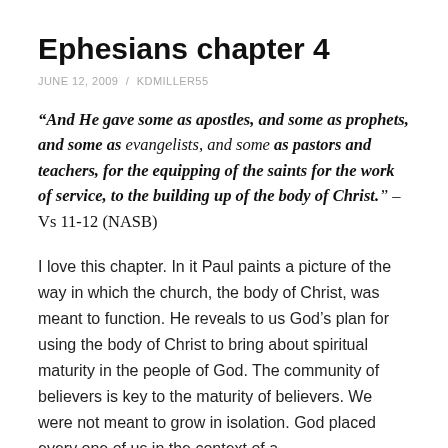Ephesians chapter 4
JUNE 12, 2009 / KDMILLER55
“And He gave some as apostles, and some as prophets, and some as evangelists, and some as pastors and teachers, for the equipping of the saints for the work of service, to the building up of the body of Christ.” – Vs 11-12 (NASB)
I love this chapter. In it Paul paints a picture of the way in which the church, the body of Christ, was meant to function. He reveals to us God’s plan for using the body of Christ to bring about spiritual maturity in the people of God. The community of believers is key to the maturity of believers. We were not meant to grow in isolation. God placed every one of us in the context of a